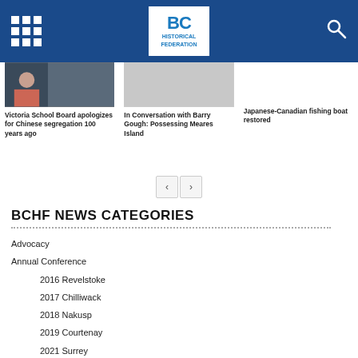BC Historical Federation
[Figure (photo): Thumbnail photo of a person with white beard]
Victoria School Board apologizes for Chinese segregation 100 years ago
[Figure (photo): Thumbnail photo for Barry Gough article]
In Conversation with Barry Gough: Possessing Meares Island
Japanese-Canadian fishing boat restored
BCHF NEWS CATEGORIES
Advocacy
Annual Conference
2016 Revelstoke
2017 Chilliwack
2018 Nakusp
2019 Courtenay
2021 Surrey